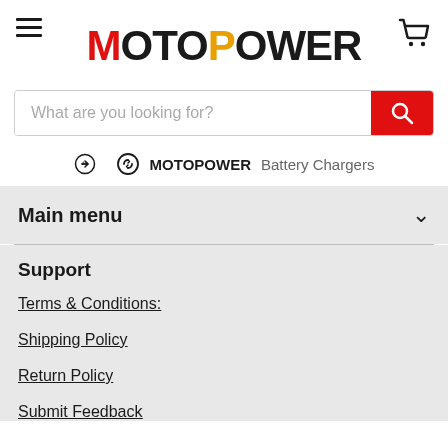MOTOPOWER
What are you looking for?
MOTOPOWER  Battery Chargers
Main menu
Support
Terms & Conditions:
Shipping Policy
Return Policy
Submit Feedback